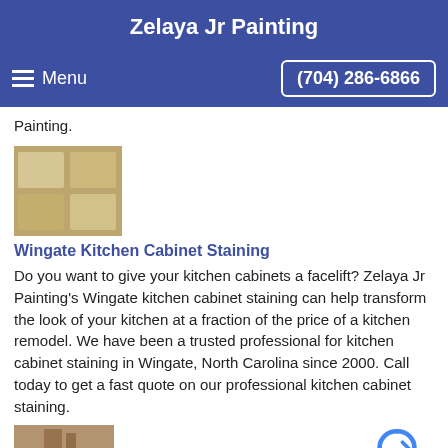Zelaya Jr Painting
Menu  (704) 286-6866
Painting.
[Figure (photo): Thumbnail photo of kitchen cabinets with staining]
Wingate Kitchen Cabinet Staining
Do you want to give your kitchen cabinets a facelift? Zelaya Jr Painting's Wingate kitchen cabinet staining can help transform the look of your kitchen at a fraction of the price of a kitchen remodel. We have been a trusted professional for kitchen cabinet staining in Wingate, North Carolina since 2000. Call today to get a fast quote on our professional kitchen cabinet staining.
[Figure (photo): Thumbnail photo of painted wall texture]